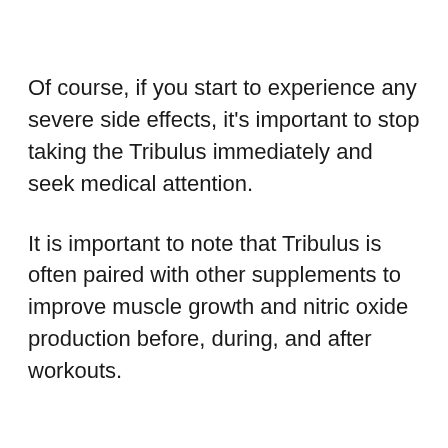Of course, if you start to experience any severe side effects, it's important to stop taking the Tribulus immediately and seek medical attention.
It is important to note that Tribulus is often paired with other supplements to improve muscle growth and nitric oxide production before, during, and after workouts.